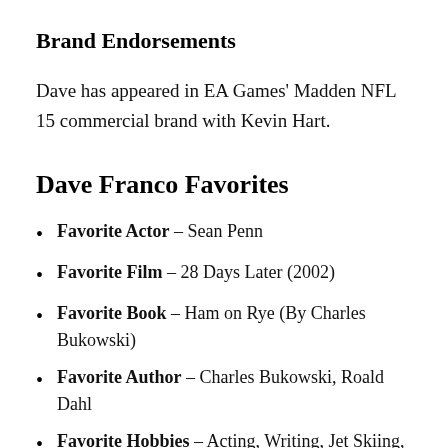Brand Endorsements
Dave has appeared in EA Games' Madden NFL 15 commercial brand with Kevin Hart.
Dave Franco Favorites
Favorite Actor – Sean Penn
Favorite Film – 28 Days Later (2002)
Favorite Book – Ham on Rye (By Charles Bukowski)
Favorite Author – Charles Bukowski, Roald Dahl
Favorite Hobbies – Acting, Writing, Jet Skiing,